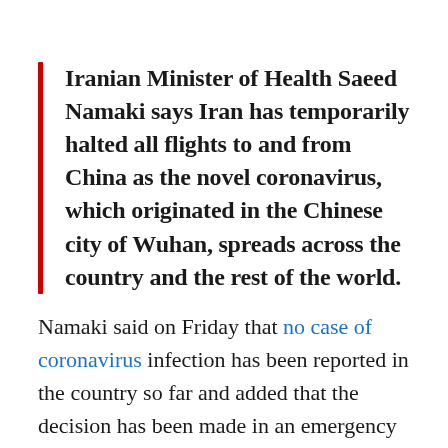Iranian Minister of Health Saeed Namaki says Iran has temporarily halted all flights to and from China as the novel coronavirus, which originated in the Chinese city of Wuhan, spreads across the country and the rest of the world.
Namaki said on Friday that no case of coronavirus infection has been reported in the country so far and added that the decision has been made in an emergency meeting in the